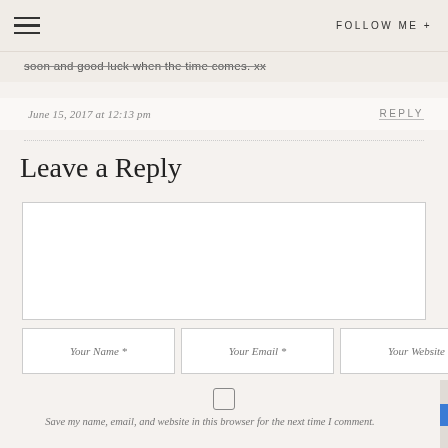FOLLOW ME +
soon and good luck when the time comes. xx
June 15, 2017 at 12:13 pm
REPLY
Leave a Reply
Your Name *
Your Email *
Your Website
Save my name, email, and website in this browser for the next time I comment.